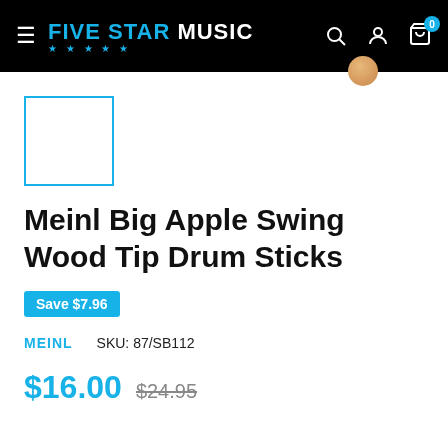FIVE STAR MUSIC — navigation header with search, account, and cart icons
[Figure (other): Small product thumbnail placeholder box with blue border]
Meinl Big Apple Swing Wood Tip Drum Sticks
Save $7.96
MEINL   SKU: 87/SB112
$16.00  $24.95